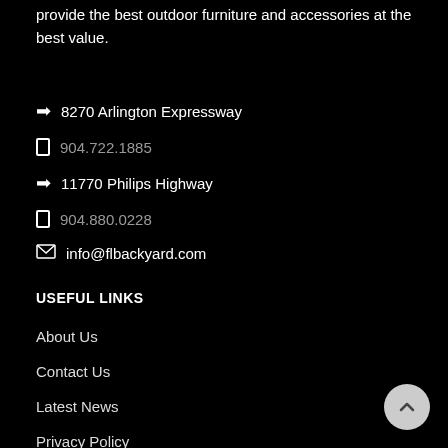provide the best outdoor furniture and accessories at the best value.
8270 Arlington Expressway
904.722.1885
11770 Philips Highway
904.880.0228
info@flbackyard.com
USEFUL LINKS
About Us
Contact Us
Latest News
Privacy Policy
Return Policy